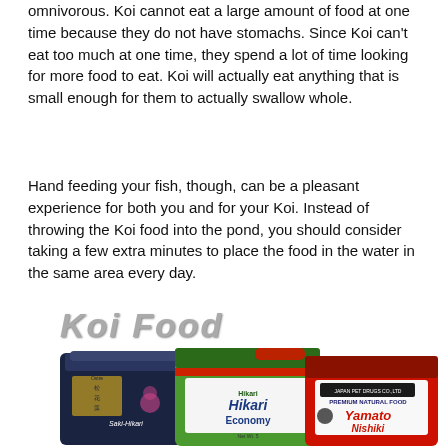omnivorous. Koi cannot eat a large amount of food at one time because they do not have stomachs. Since Koi can't eat too much at one time, they spend a lot of time looking for more food to eat. Koi will actually eat anything that is small enough for them to actually swallow whole.
Hand feeding your fish, though, can be a pleasant experience for both you and for your Koi. Instead of throwing the Koi food into the pond, you should consider taking a few extra minutes to place the food in the water in the same area every day.
Koi Food
[Figure (photo): Three bags of Koi fish food products side by side: Saki-Hikari (dark blue bag), Hikari Economy (green and white bag), and Yamato Nishiki (red and white bag)]